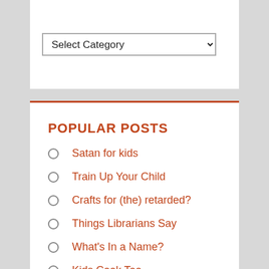[Figure (screenshot): A dropdown select box labeled 'Select Category' with a chevron arrow on the right]
POPULAR POSTS
Satan for kids
Train Up Your Child
Crafts for (the) retarded?
Things Librarians Say
What's In a Name?
Kids Cook Too